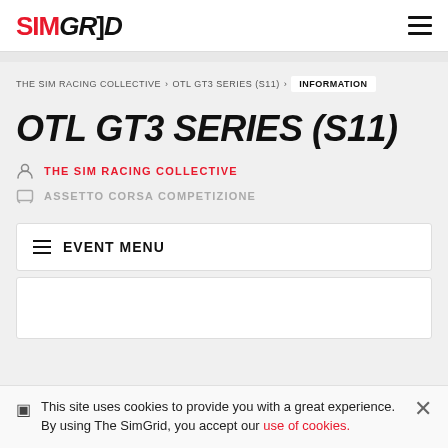SIMGRID
THE SIM RACING COLLECTIVE > OTL GT3 SERIES (S11) > INFORMATION
OTL GT3 SERIES (S11)
THE SIM RACING COLLECTIVE
ASSETTO CORSA COMPETIZIONE
EVENT MENU
This site uses cookies to provide you with a great experience. By using The SimGrid, you accept our use of cookies.